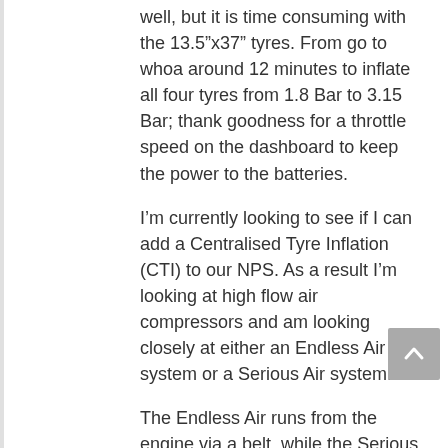well, but it is time consuming with the 13.5”x37” tyres. From go to whoa around 12 minutes to inflate all four tyres from 1.8 Bar to 3.15 Bar; thank goodness for a throttle speed on the dashboard to keep the power to the batteries.
I’m currently looking to see if I can add a Centralised Tyre Inflation (CTI) to our NPS. As a result I’m looking at high flow air compressors and am looking closely at either an Endless Air system or a Serious Air system.
The Endless Air runs from the engine via a belt, while the Serious Air is an electric version of the belt driven unit.
Reply